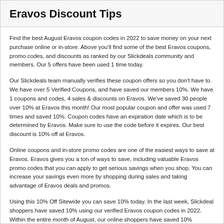Eravos Discount Tips
Find the best August Eravos coupon codes in 2022 to save money on your next purchase online or in-store. Above you'll find some of the best Eravos coupons, promo codes, and discounts as ranked by our Slickdeals community and members. Our 5 offers have been used 1 time today.
Our Slickdeals team manually verifies these coupon offers so you don't have to. We have over 5 Verified Coupons, and have saved our members 10%. We have 1 coupons and codes, 4 sales & discounts on Eravos. We've saved 30 people over 10% at Eravos this month! Our most popular coupon and offer was used 7 times and saved 10%. Coupon codes have an expiration date which is to be determined by Eravos. Make sure to use the code before it expires. Our best discount is 10% off at Eravos.
Online coupons and in-store promo codes are one of the easiest ways to save at Eravos. Eravos gives you a ton of ways to save, including valuable Eravos promo codes that you can apply to get serious savings when you shop. You can increase your savings even more by shopping during sales and taking advantage of Eravos deals and promos.
Using this 10% Off Sitewide you can save 10% today. In the last week, Slickdeal shoppers have saved 10% using our verified Eravos coupon codes in 2022. Within the entire month of August, our online shoppers have saved 10%